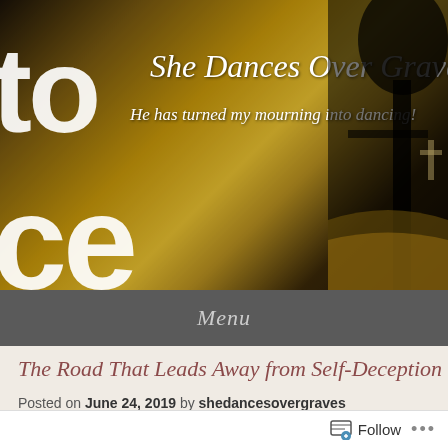[Figure (photo): Blog header image showing a silhouette of a person/tree against a warm golden-yellow background with cemetery/path scene. Large white letters 'to' and 'ce' visible on left side. Blog title 'She Dances Over Graves' and subtitle 'He has turned my mourning into dancing!' overlaid in white italic script.]
Menu
The Road That Leads Away from Self-Deception
Posted on June 24, 2019 by shedancesovergraves
[Figure (other): Follow button widget with icon and 'Follow' text, plus ellipsis menu dots]